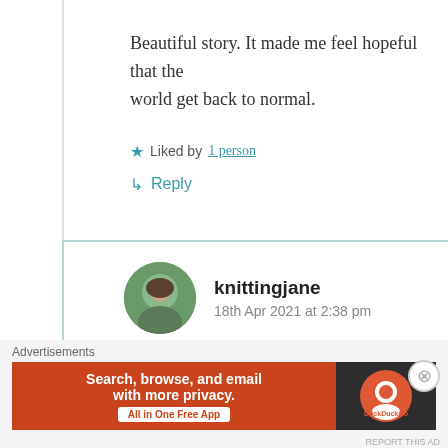Beautiful story. It made me feel hopeful that the world get back to normal.
★ Liked by 1 person
↳ Reply
knittingjane
18th Apr 2021 at 2:38 pm
Thank you. We all just have to stay
Advertisements
[Figure (screenshot): DuckDuckGo advertisement banner: 'Search, browse, and email with more privacy. All in One Free App' with DuckDuckGo logo on dark background]